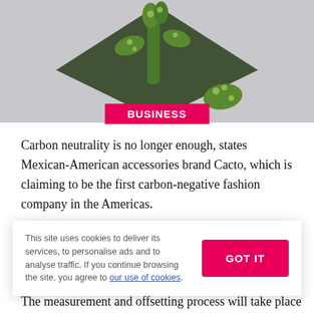[Figure (photo): Photo of a cactus plant arranged in a dark diamond-shaped frame/holder against a light gray background]
BUSINESS
Carbon neutrality is no longer enough, states Mexican-American accessories brand Cacto, which is claiming to be the first carbon-negative fashion company in the Americas.
Cacto, which produces sustainable accessories made of cactus leather, has partnered with Swiss nonprofit
This site uses cookies to deliver its services, to personalise ads and to analyse traffic. If you continue browsing the site, you agree to our use of cookies.
The measurement and offsetting process will take place